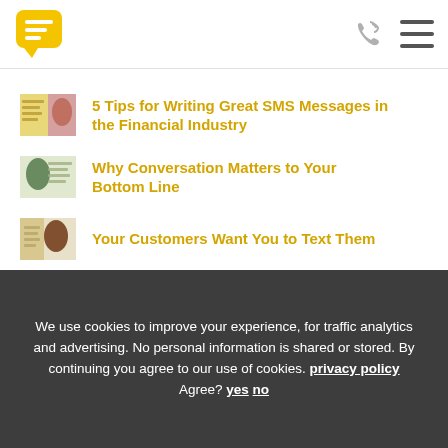[Figure (logo): Yellow speech bubble logo with horizontal lines inside]
[Figure (illustration): Phone/call icon and hamburger menu icon in header]
[Figure (photo): Thumbnail image for article: 5 Tips for Writing Great SMS Messages in the Financial Industry]
5 Tips for Writing Great SMS Messages in the Financial Industry
[Figure (photo): Thumbnail image for article: Why Conversation Matters to Your Bottom Line]
Why Conversation Matters to Your Bottom Line
[Figure (photo): Thumbnail image for article: Your Customers Want You to Text Them]
Your Customers Want You to Text Them
We use cookies to improve your experience, for traffic analytics and advertising. No personal information is shared or stored. By continuing you agree to our use of cookies. privacy policy Agree? yes no